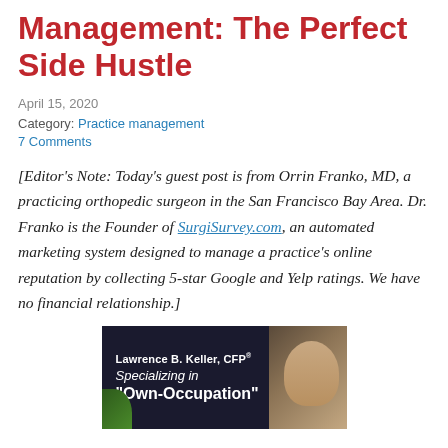Management: The Perfect Side Hustle
April 15, 2020
Category: Practice management
7 Comments
[Editor's Note: Today's guest post is from Orrin Franko, MD, a practicing orthopedic surgeon in the San Francisco Bay Area. Dr. Franko is the Founder of SurgiSurvey.com, an automated marketing system designed to manage a practice's online reputation by collecting 5-star Google and Yelp ratings. We have no financial relationship.]
[Figure (photo): Advertisement image showing Lawrence B. Keller, CFP specializing in Own-Occupation, with a man's photo on the right side and green plant on the left]